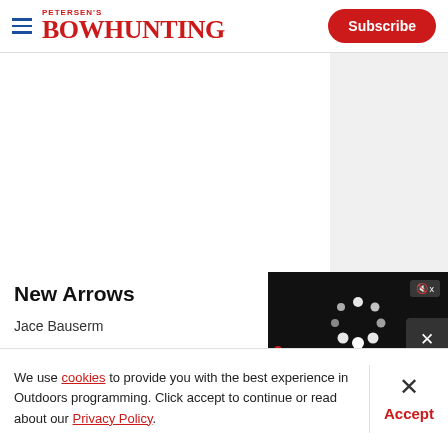Petersen's Bowhunting — Subscribe
[Figure (screenshot): Video player with loading spinner, mute button, video controls bar showing 00:00 / 05:23, and a close button. Dark background video overlay.]
New Arrows
Jace Bauserm
We use cookies to provide you with the best experience in Outdoors programming. Click accept to continue or read about our Privacy Policy.